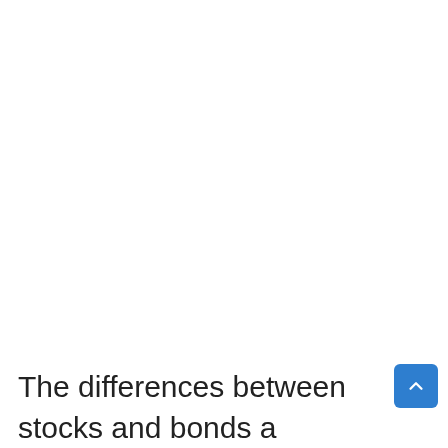The differences between stocks and bonds a...